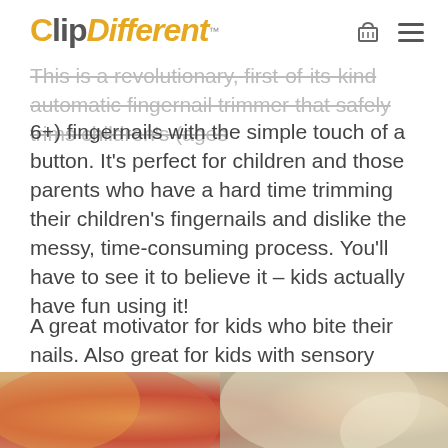Clip Different™
This is a revolutionary, first-of-its-kind automatic fingernail trimmer that safely trims children's (ages 6+) fingernails with the simple touch of a button. It's perfect for children and those parents who have a hard time trimming their children's fingernails and dislike the messy, time-consuming process. You'll have to see it to believe it – kids actually have fun using it!
A great motivator for kids who bite their nails. Also great for kids with sensory challenges (has a nice, soothing sound). Includes stickers to decorate and personalize.
[Figure (photo): Blurred photo of a child's face, showing warm tones of orange/red and light blonde hair]